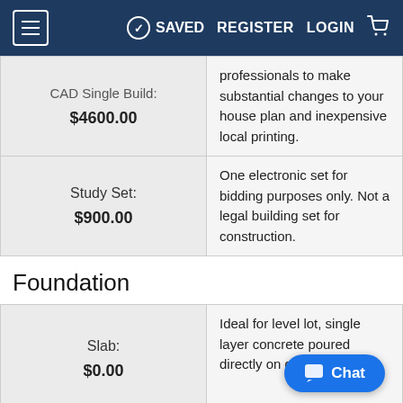≡  ✓ SAVED  REGISTER  LOGIN  🛒
|  |  |
| --- | --- |
| CAD Single Build:
$4600.00 | professionals to make substantial changes to your house plan and inexpensive local printing. |
| Study Set:
$900.00 | One electronic set for bidding purposes only. Not a legal building set for construction. |
Foundation
|  |  |
| --- | --- |
| Slab:
$0.00 | Ideal for level lot, single layer concrete poured directly on g... |